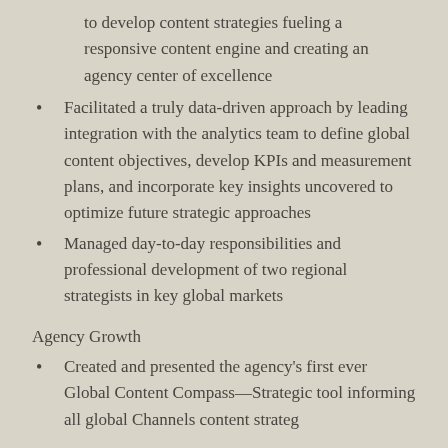to develop content strategies fueling a responsive content engine and creating an agency center of excellence
Facilitated a truly data-driven approach by leading integration with the analytics team to define global content objectives, develop KPIs and measurement plans, and incorporate key insights uncovered to optimize future strategic approaches
Managed day-to-day responsibilities and professional development of two regional strategists in key global markets
Agency Growth
Created and presented the agency's first ever Global Content Compass—Strategic tool informing all global Channels content strategies efforts